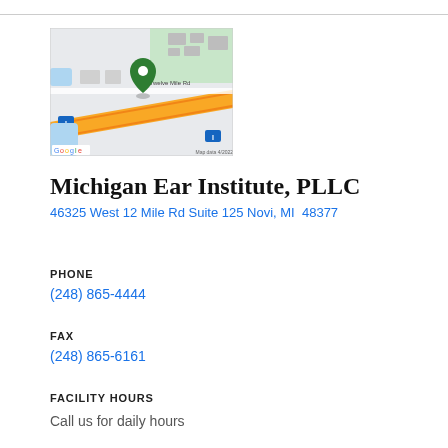[Figure (map): Google Maps screenshot showing location of Michigan Ear Institute at 46325 West 12 Mile Rd, Novi, MI. A green map pin marks the location near a yellow highway and green park area. Google logo and 'Map data 4/2022' visible.]
Michigan Ear Institute, PLLC
46325 West 12 Mile Rd Suite 125 Novi, MI 48377
PHONE
(248) 865-4444
FAX
(248) 865-6161
FACILITY HOURS
Call us for daily hours